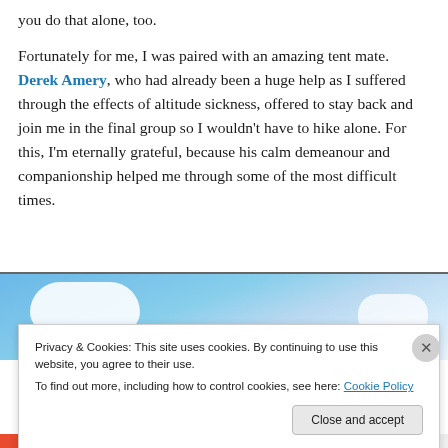you do that alone, too.
Fortunately for me, I was paired with an amazing tent mate. Derek Amery, who had already been a huge help as I suffered through the effects of altitude sickness, offered to stay back and join me in the final group so I wouldn't have to hike alone. For this, I'm eternally grateful, because his calm demeanour and companionship helped me through some of the most difficult times.
[Figure (photo): Partial photo showing blue sky with white clouds, cropped at bottom of visible area]
Privacy & Cookies: This site uses cookies. By continuing to use this website, you agree to their use.
To find out more, including how to control cookies, see here: Cookie Policy